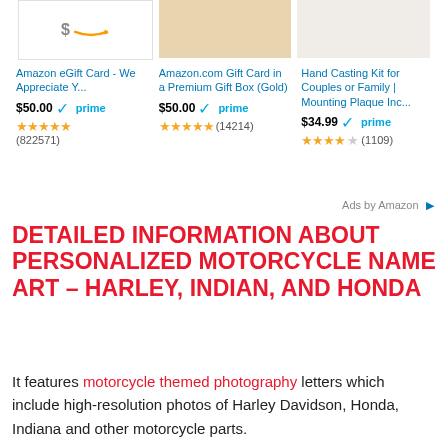[Figure (screenshot): Amazon ad row showing three products: Amazon eGift Card, Amazon.com Gift Card in Premium Gold Box, Hand Casting Kit for Couples or Family with product images, prices, prime badges, and star ratings]
Ads by Amazon
DETAILED INFORMATION ABOUT PERSONALIZED MOTORCYCLE NAME ART – HARLEY, INDIAN, AND HONDA
It features motorcycle themed photography letters which include high-resolution photos of Harley Davidson, Honda, Indiana and other motorcycle parts.